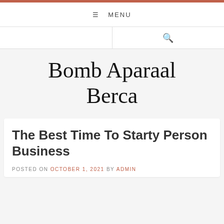≡ MENU
[Figure (logo): Search icon (magnifying glass)]
Bomb Aparaal Berca
The Best Time To Starty Person Business
POSTED ON OCTOBER 1, 2021 BY ADMIN